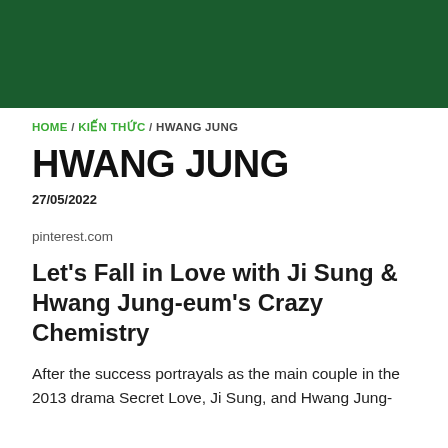HOME / KIẾN THỨC / HWANG JUNG
HWANG JUNG
27/05/2022
pinterest.com
Let's Fall in Love with Ji Sung & Hwang Jung-eum's Crazy Chemistry
After the success portrayals as the main couple in the 2013 drama Secret Love, Ji Sung, and Hwang Jung-